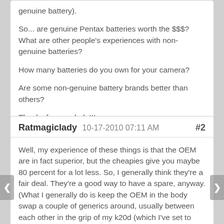genuine battery).
So... are genuine Pentax batteries worth the $$$? What are other people's experiences with non-genuine batteries?
How many batteries do you own for your camera?
Are some non-genuine battery brands better than others?
Thanks for your help!!!
REPLY
Ratmagiclady 10-17-2010 07:11 AM #2
Well, my experience of these things is that the OEM are in fact superior, but the cheapies give you maybe 80 percent for a lot less. So, I generally think they're a fair deal. They're a good way to have a spare, anyway. (What I generally do is keep the OEM in the body swap a couple of generics around, usually between each other in the grip of my k20d (which I've set to drain first,) which generally keeps me pretty topped off.